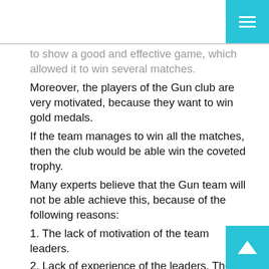to show a good and effective game, which allowed it to win several matches.
Moreover, the players of the Gun club are very motivated, because they want to win gold medals.
If the team manages to win all the matches, then the club would be able win the coveted trophy.
Many experts believe that the Gun team will not be able achieve this, because of the following reasons:
1. The lack of motivation of the team leaders.
2. Lack of experience of the leaders. They have not been in the team for a long time.
3. Weakness of the main competitors of the club in the fight for the title.
All these factors will be the main obstacles for the Gun to win.
So, the current Arsenal is a team that can be considered